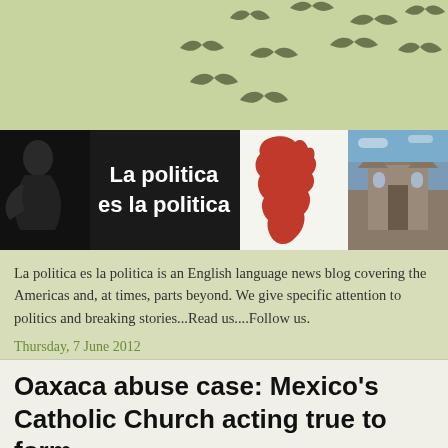[Figure (illustration): Green background with flying bird silhouettes scattered across the top portion of the page]
La politica es la politica
[Figure (photo): Blog header banner with three panels: left panel shows a dark silhouette figure with white bold text 'La politica es la politica'; middle panel shows a red map of the Americas on white background; right panel shows a photo of a cathedral]
La politica es la politica is an English language news blog covering the Americas and, at times, parts beyond. We give specific attention to politics and breaking stories...Read us....Follow us.
Thursday, 7 June 2012
Oaxaca abuse case: Mexico’s Catholic Church acting true to form
The past few years have seen the Catholic Church rocked